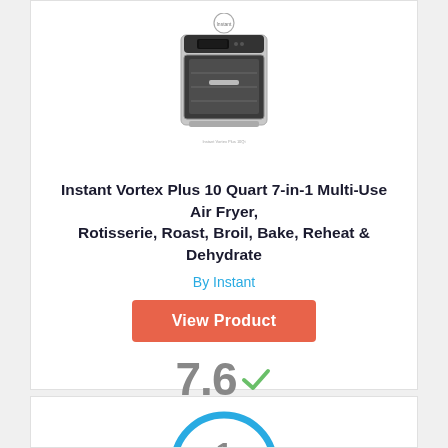[Figure (photo): Air fryer product photo - Instant Vortex Plus 10 Quart, stainless steel with glass door]
Instant Vortex Plus 10 Quart 7-in-1 Multi-Use Air Fryer, Rotisserie, Roast, Broil, Bake, Reheat & Dehydrate
By Instant
View Product
7.6
Score
[Figure (other): Partial circular score badge at bottom of page, showing number starting with 1]